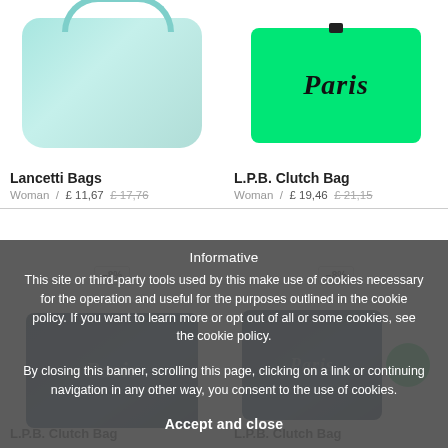[Figure (photo): Lancetti teal/mint shoulder bag product photo]
[Figure (photo): L.P.B. bright green clutch bag with 'Paris' text product photo]
Lancetti Bags
Woman / £ 11,67 £ 17,76
L.P.B. Clutch Bag
Woman / £ 19,46 £ 21,15
Informative
This site or third-party tools used by this make use of cookies necessary for the operation and useful for the purposes outlined in the cookie policy. If you want to learn more or opt out of all or some cookies, see the cookie policy.
By closing this banner, scrolling this page, clicking on a link or continuing navigation in any other way, you consent to the use of cookies.
[Figure (photo): L.P.B. dark blue clutch bag with 'Paris' text product photo]
[Figure (photo): L.P.B. dark blue clutch bag with 'Paris' text product photo]
Accept and close
L.P.B. Clutch Bag
L.P.B. Clutch Bag